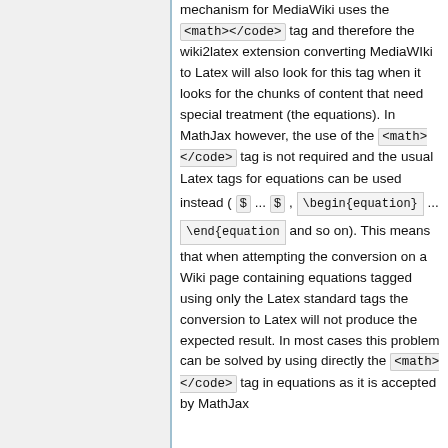mechanism for MediaWiki uses the <code><math></code> tag and therefore the wiki2latex extension converting MediaWIki to Latex will also look for this tag when it looks for the chunks of content that need special treatment (the equations). In MathJax however, the use of the <code><math></code> tag is not required and the usual Latex tags for equations can be used instead ( $ ... $ , \begin{equation} ... \end{equation} and so on). This means that when attempting the conversion on a Wiki page containing equations tagged using only the Latex standard tags the conversion to Latex will not produce the expected result. In most cases this problem can be solved by using directly the <code><math></code> tag in equations as it is accepted by MathJax